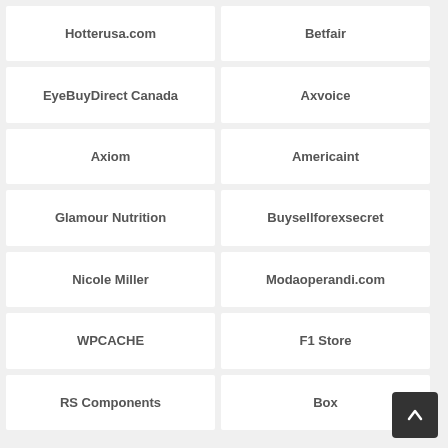Hotterusa.com
Betfair
EyeBuyDirect Canada
Axvoice
Axiom
Americaint
Glamour Nutrition
Buysellforexsecret
Nicole Miller
Modaoperandi.com
WPCACHE
F1 Store
RS Components
Box